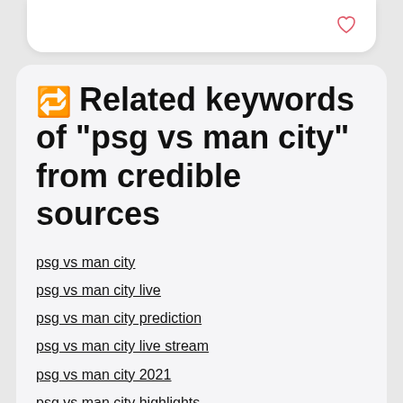🔁 Related keywords of "psg vs man city" from credible sources
psg vs man city
psg vs man city live
psg vs man city prediction
psg vs man city live stream
psg vs man city 2021
psg vs man city highlights
psg vs man city 2018
psg vs man city results
psg vs man city odds
psg vs man city full match